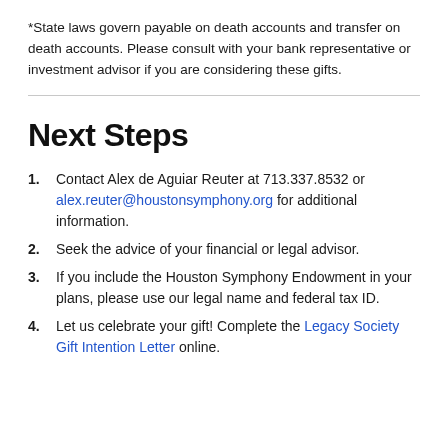*State laws govern payable on death accounts and transfer on death accounts. Please consult with your bank representative or investment advisor if you are considering these gifts.
Next Steps
Contact Alex de Aguiar Reuter at 713.337.8532 or alex.reuter@houstonsymphony.org for additional information.
Seek the advice of your financial or legal advisor.
If you include the Houston Symphony Endowment in your plans, please use our legal name and federal tax ID.
Let us celebrate your gift! Complete the Legacy Society Gift Intention Letter online.